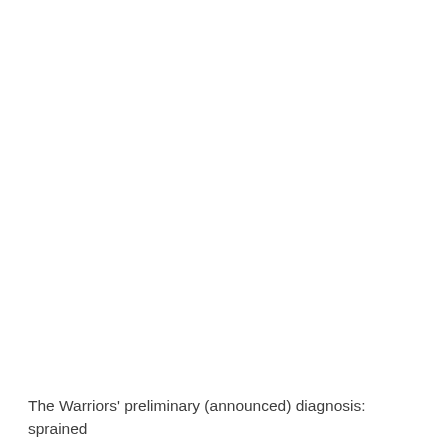The Warriors' preliminary (announced) diagnosis: sprained